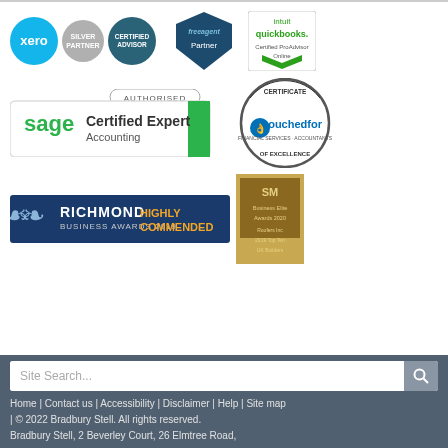[Figure (logo): Xero Silver Partner and Certified Advisor badges, FreeAgent Partner badge, QuickBooks Certified ProAdvisor Online badge]
[Figure (logo): Sage Authorised Certified Expert Accounting badge and VouchedFor Certificate of Excellence badge]
[Figure (logo): Richmond Business Awards 2019 Highly Commended banner and SM Business Elite Awards 2020 badge]
[Figure (screenshot): Search bar with Site Search placeholder and search icon button]
Home | Contact us | Accessibility | Disclaimer | Help | Site map | © 2022 Bradbury Stell. All rights reserved. Bradbury Stell, 2 Beverley Court, 26 Elmtree Road,